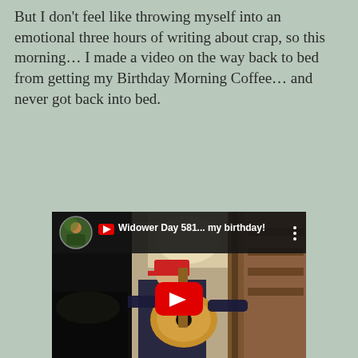But I don't feel like throwing myself into an emotional three hours of writing about crap, so this morning… I made a video on the way back to bed from getting my Birthday Morning Coffee… and never got back into bed.
[Figure (screenshot): Embedded YouTube video thumbnail showing a man playing acoustic guitar indoors, with a red YouTube play button overlay. Video title: 'Widower Day 581... my birthday!' with a circular avatar of a person outdoors.]